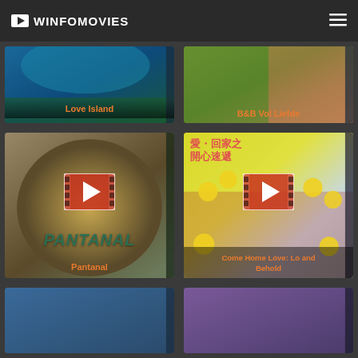🎥 WINFOMOVIES
[Figure (screenshot): Movie thumbnail for Love Island with teal/ocean background]
[Figure (screenshot): Movie thumbnail for B&B Vol Liefde with green fields and orange hills]
[Figure (screenshot): Movie poster for Pantanal with desert/nature scene and play button overlay]
[Figure (screenshot): Movie thumbnail for Come Home Love: Lo and Behold with yellow balloons and group of people, play button overlay]
[Figure (screenshot): Partial movie thumbnail bottom left]
[Figure (screenshot): Partial movie thumbnail bottom right]